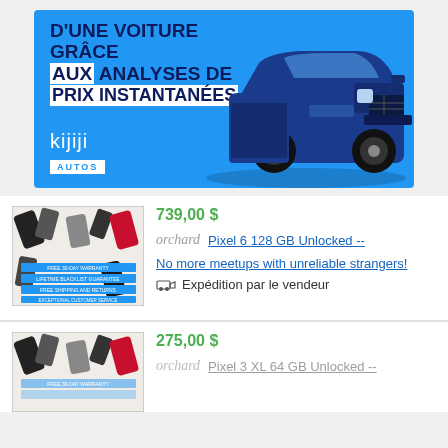[Figure (advertisement): Kijiji Autos banner ad with blue background, text 'D'UNE VOITURE GRÂCE AUX ANALYSES DE PRIX INSTANTANÉES', Kijiji Autos logo, and a blue pickup truck (Ford Raptor)]
739,00 $
[Figure (photo): Orchard phone listing thumbnail showing multiple phones scattered on white background with warranty and guarantee text strips]
orchard  Pixel 6 128 GB Unlocked --
No more meetups with unreliable strangers!
Expédition par le vendeur
275,00 $
[Figure (photo): Orchard phone listing thumbnail showing multiple phones scattered on white background with warranty text strips (partially visible)]
orchard  Pixel 3 XL 64 GB Unlocked --